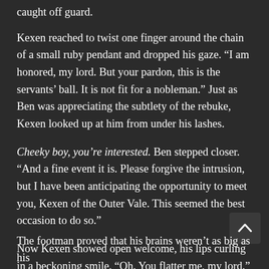caught off guard.
Kexen reached to twist one finger around the chain of a small ruby pendant and dropped his gaze. “I am honored, my lord. But your pardon, this is the servants’ ball. It is not fit for a nobleman.” Just as Ben was appreciating the subtlety of the rebuke, Kexen looked up at him from under his lashes.
Cheeky boy, you’re interested. Ben stepped closer. “And a fine event it is. Please forgive the intrusion, but I have been anticipating the opportunity to meet you, Kexen of the Outer Vale. This seemed the best occasion to do so.”
Now Kexen showed open welcome, his lips curling in a beckoning smile. “Oh. You flatter me, my lord.”
The footman proved that his brains weren’t as big as his